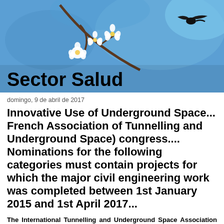[Figure (photo): Header photo of cherry blossoms (white flowers) against a blue sky with a bird silhouette, with 'Sector Salud' text overlay]
domingo, 9 de abril de 2017
Innovative Use of Underground Space... French Association of Tunnelling and Underground Space) congress.... Nominations for the following categories must contain projects for which the major civil engineering work was completed between 1st January 2015 and 1st April 2017...
The International Tunnelling and Underground Space Association launches the 3rd edition of the ITA